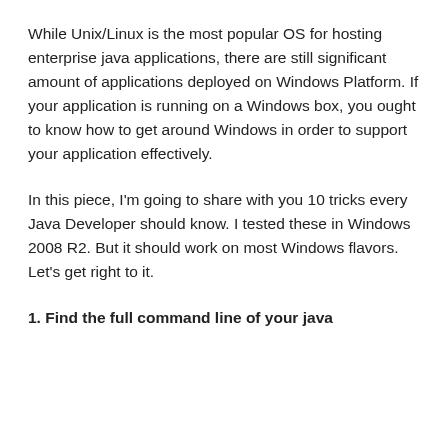While Unix/Linux is the most popular OS for hosting enterprise java applications, there are still significant amount of applications deployed on Windows Platform. If your application is running on a Windows box, you ought to know how to get around Windows in order to support your application effectively.
In this piece, I'm going to share with you 10 tricks every Java Developer should know. I tested these in Windows 2008 R2. But it should work on most Windows flavors. Let's get right to it.
1. Find the full command line of your java